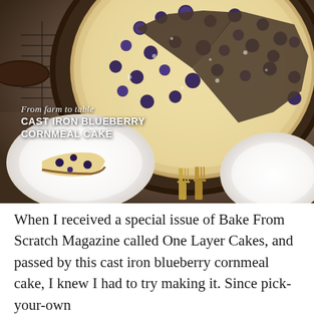[Figure (photo): Overhead photo of a cast iron skillet with blueberry cornmeal cake on a wire cooling rack. A slice has been cut and placed on a white plate in the lower left. A second white plate is visible lower right along with gold forks. The cake is studded with blueberries and dusted with powdered sugar.]
From farm to table — CAST IRON BLUEBERRY CORNMEAL CAKE
When I received a special issue of Bake From Scratch Magazine called One Layer Cakes, and passed by this cast iron blueberry cornmeal cake, I knew I had to try making it. Since pick-your-own